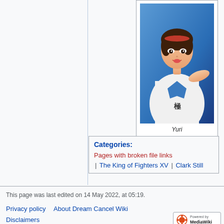[Figure (illustration): Anime-style character illustration of Yuri Sakazaki from King of Fighters XV, showing a young woman with brown hair and a red hairband, wearing a white gi with blue details, reaching forward against a blue background]
Yuri
Sakazaki
Categories:
Pages with broken file links
The King of Fighters XV | Clark Still
This page was last edited on 14 May 2022, at 05:19.
Privacy policy    About Dream Cancel Wiki
Disclaimers
[Figure (logo): Powered by MediaWiki badge/logo]